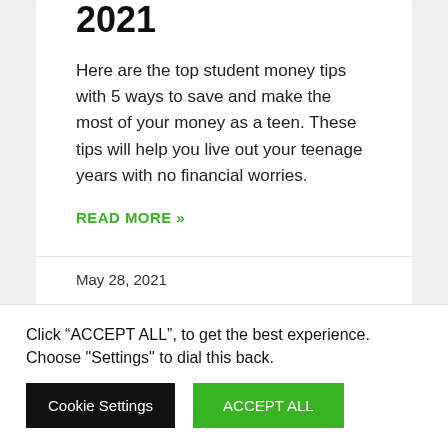2021
Here are the top student money tips with 5 ways to save and make the most of your money as a teen. These tips will help you live out your teenage years with no financial worries.
READ MORE »
May 28, 2021
Click “ACCEPT ALL”, to get the best experience. Choose "Settings" to dial this back.
Cookie Settings | ACCEPT ALL